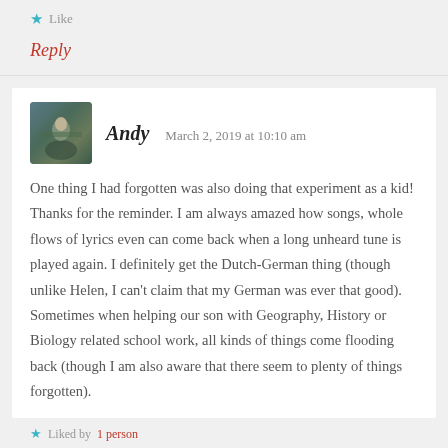Like
Reply
Andy   March 2, 2019 at 10:10 am
One thing I had forgotten was also doing that experiment as a kid! Thanks for the reminder. I am always amazed how songs, whole flows of lyrics even can come back when a long unheard tune is played again. I definitely get the Dutch-German thing (though unlike Helen, I can't claim that my German was ever that good). Sometimes when helping our son with Geography, History or Biology related school work, all kinds of things come flooding back (though I am also aware that there seem to plenty of things forgotten).
Liked by 1 person